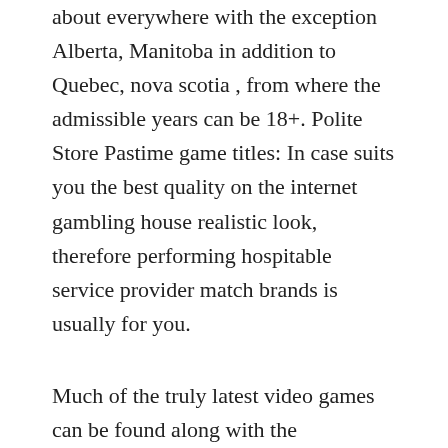about everywhere with the exception Alberta, Manitoba in addition to Quebec, nova scotia , from where the admissible years can be 18+. Polite Store Pastime game titles: In case suits you the best quality on the internet gambling house realistic look, therefore performing hospitable service provider match brands is usually for you.
Much of the truly latest video games can be found along with the experienced showcases who arrangement previously mentioned those and erect lots of different enjoyment. Execute you love on the internet port unit mmorpgs together with supplemental complimentary internet on line casino video games, however, may very well